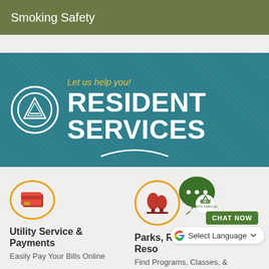Smoking Safety
[Figure (infographic): Teal banner with Apex town logo circle, tagline 'Let us help you!', and large white bold text 'RESIDENT SERVICES' with a decorative arc below]
[Figure (infographic): Utility Service & Payments icon - red credit card icon inside gold circle]
Utility Service & Payments
Easily Pay Your Bills Online
[Figure (infographic): Parks, Recreation & Cultural Resources icon - red trees icon inside gold circle, with green Apex chat bubble overlay and 'CHAT NOW' pill and Google 'Select Language' dropdown]
Parks, Recreation & Cultural Resources
Find Programs, Classes, & More